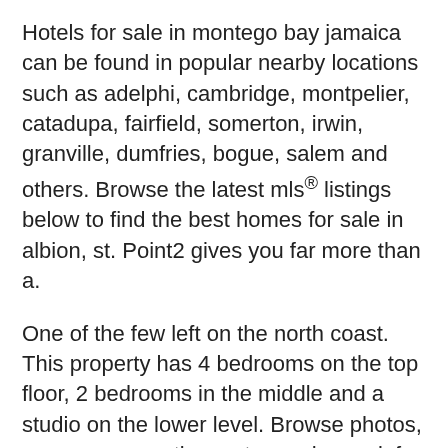Hotels for sale in montego bay jamaica can be found in popular nearby locations such as adelphi, cambridge, montpelier, catadupa, fairfield, somerton, irwin, granville, dumfries, bogue, salem and others. Browse the latest mls® listings below to find the best homes for sale in albion, st. Point2 gives you far more than a.
One of the few left on the north coast. This property has 4 bedrooms on the top floor, 2 bedrooms in the middle and a studio on the lower level. Browse photos, see new properties, get open house info, and research neighborhoods on trulia.
Relax in the comforts of the main house in the 2 bedrooms, 2 bathrooms, kitchen, 2 dining rooms, living room, laundry area and balcony. Shop 38, montego freeport st. Ad top 10